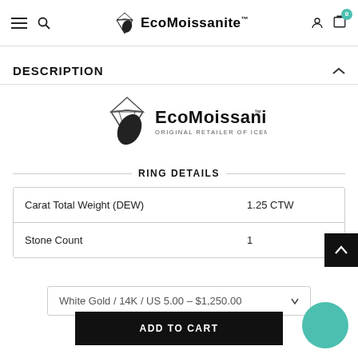EcoMoissanite™ — navigation bar with menu, search, logo, account, cart (0)
DESCRIPTION
[Figure (logo): EcoMoissanite logo with diamond and leaf icon, text 'EcoMoissanite™' and subtitle 'ORIGINAL RETAILER OF ICEMOISSANITE']
RING DETAILS
| Property | Value |
| --- | --- |
| Carat Total Weight (DEW) | 1.25 CTW |
| Stone Count | 1 |
White Gold / 14K / US 5.00 – $1,250.00
ADD TO CART